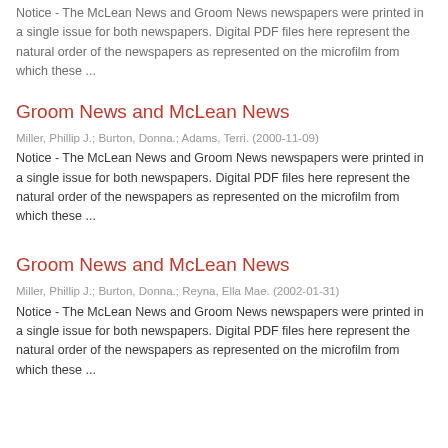Notice - The McLean News and Groom News newspapers were printed in a single issue for both newspapers. Digital PDF files here represent the natural order of the newspapers as represented on the microfilm from which these ...
Groom News and McLean News
Miller, Phillip J.; Burton, Donna.; Adams, Terri. (2000-11-09)
Notice - The McLean News and Groom News newspapers were printed in a single issue for both newspapers. Digital PDF files here represent the natural order of the newspapers as represented on the microfilm from which these ...
Groom News and McLean News
Miller, Phillip J.; Burton, Donna.; Reyna, Ella Mae. (2002-01-31)
Notice - The McLean News and Groom News newspapers were printed in a single issue for both newspapers. Digital PDF files here represent the natural order of the newspapers as represented on the microfilm from which these ...